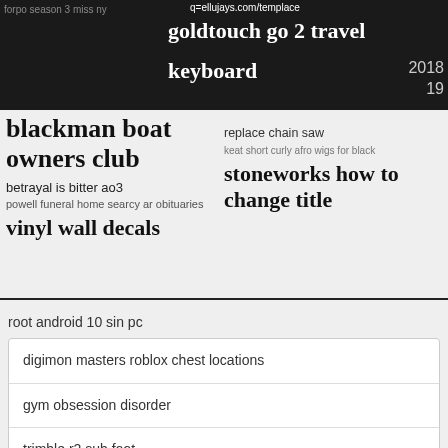forpo season 3 miss ny
q=ellujays.com/templace goldtouch go 2 travel keyboard
2018
19
blackman boat owners club
betrayal is bitter ao3
powell funeral home searcy ar obituaries
vinyl wall decals
replace chain saw
keat short curly afro wigs for black
stoneworks how to change title
root android 10 sin pc
digimon masters roblox chest locations
gym obsession disorder
trimble r2 sub foot